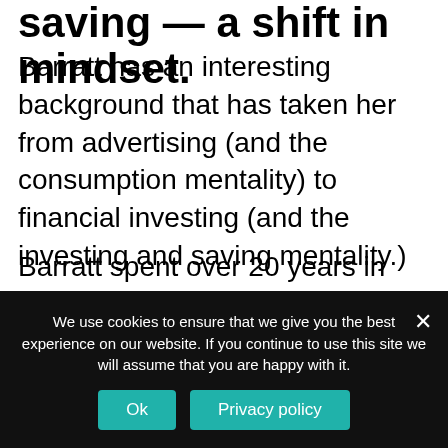saving — a shift in mindset.
Barratt has an interesting background that has taken her from advertising (and the consumption mentality) to financial investing (and the investing and saving mentality.)
Barratt spent over 20 years in the digital marketing and the digital product and advertising world with financial services clients. In those days, when consumption was king, businesses focused on the largest
We use cookies to ensure that we give you the best experience on our website. If you continue to use this site we will assume that you are happy with it.